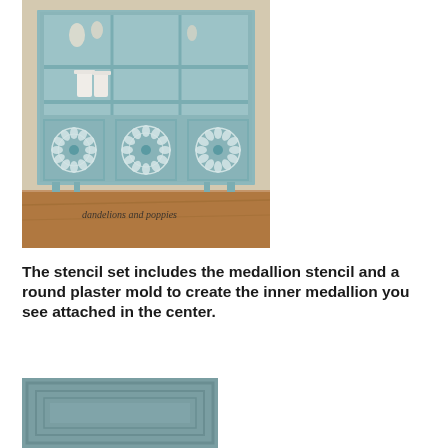[Figure (photo): A painted pale blue-grey china cabinet/hutch with decorative white medallion stencils on the cabinet doors and white ceramic pitchers on the shelves. The cabinet has glass-front upper section and solid lower doors with ornate medallion designs. Watermark text reads 'dandelions and poppies'. The cabinet is photographed on a wooden floor.]
The stencil set includes the medallion stencil and a round plaster mold to create the inner medallion you see attached in the center.
[Figure (photo): Close-up detail of the painted blue-grey cabinet doors showing rectangular panel molding details.]